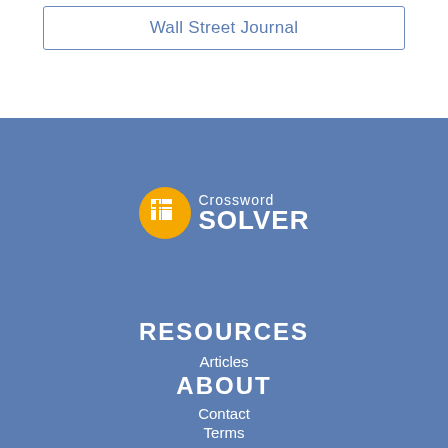Wall Street Journal
[Figure (logo): Crossword Solver logo — yellow circle with crossword grid icon and white text 'Crossword SOLVER']
RESOURCES
Articles
Crossword Help
Crossword Answers
ABOUT
Contact
Terms